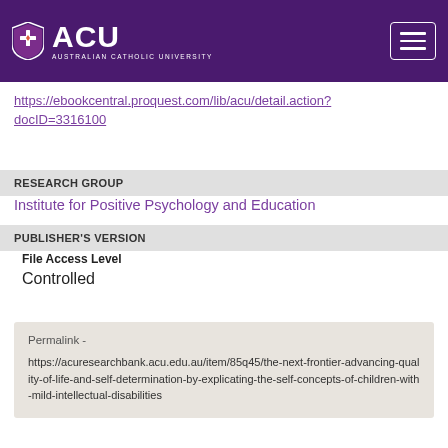[Figure (logo): ACU Australian Catholic University logo with shield and wordmark on purple header bar]
https://ebookcentral.proquest.com/lib/acu/detail.action?docID=3316100
RESEARCH GROUP
Institute for Positive Psychology and Education
PUBLISHER'S VERSION
File Access Level
Controlled
Permalink - https://acuresearchbank.acu.edu.au/item/85q45/the-next-frontier-advancing-quality-of-life-and-self-determination-by-explicating-the-self-concepts-of-children-with-mild-intellectual-disabilities